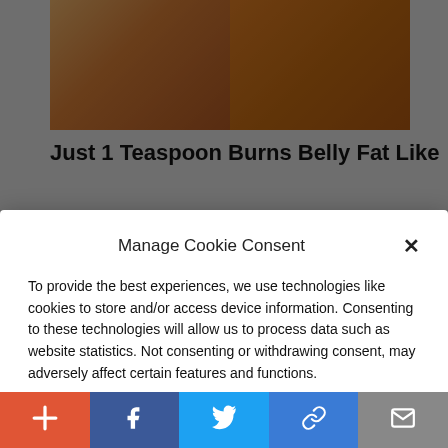[Figure (screenshot): Background website content partially visible: split image of fitness/spice photo on top, bold headline text below partially obscured by modal overlay]
Manage Cookie Consent
To provide the best experiences, we use technologies like cookies to store and/or access device information. Consenting to these technologies will allow us to process data such as website statistics. Not consenting or withdrawing consent, may adversely affect certain features and functions.
Accept
Cookie Policy  Privacy Policy
Everyone Who Believes In God Should Watch This. It Will Blow Your
[Figure (screenshot): Bottom share bar with five buttons: plus/add (red-orange), Facebook (dark blue), Twitter (blue), link/share (blue), mail (grey)]